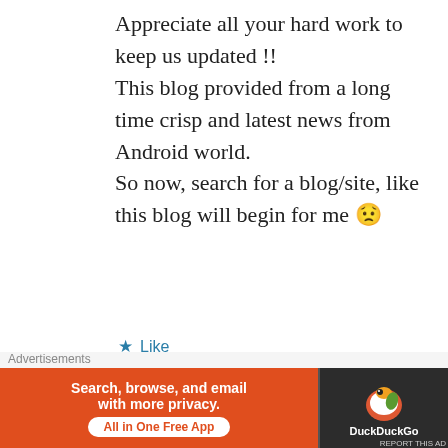Appreciate all your hard work to keep us updated !!
This blog provided from a long time crisp and latest news from Android world.
So now, search for a blog/site, like this blog will begin for me 😟
★ Like
REPLY
[Figure (illustration): Colorful mosaic/kaleidoscope avatar icon in purple and pink tones]
Rohit
JUNE 15, 2015 AT 11:58 AM
Advertisements
[Figure (screenshot): DuckDuckGo advertisement banner: Search, browse, and email with more privacy. All in One Free App. Orange background on left, dark background with DuckDuckGo logo on right.]